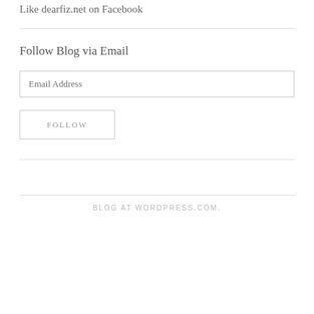Like dearfiz.net on Facebook
Follow Blog via Email
Email Address
FOLLOW
BLOG AT WORDPRESS.COM.